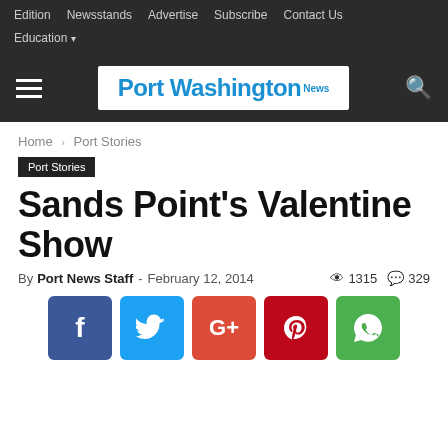Edition  Newsstands  Advertise  Subscribe  Contact Us  Education
[Figure (logo): Port Washington News logo with hamburger menu and search icon on dark bar]
Home › Port Stories
Port Stories
Sands Point's Valentine Show
By Port News Staff - February 12, 2014   👁 1315   💬 329
[Figure (infographic): Social share buttons: Facebook (blue), Twitter (cyan), Google+ (red), Pinterest (dark red), WhatsApp (green)]